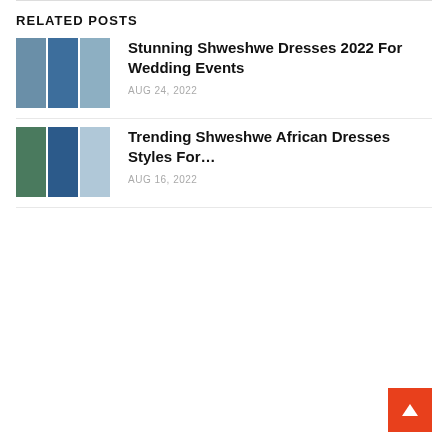RELATED POSTS
[Figure (photo): Three photos of women in blue Shweshwe dresses for wedding events]
Stunning Shweshwe Dresses 2022 For Wedding Events
AUG 24, 2022
[Figure (photo): Three photos of women in blue Shweshwe African dress styles]
Trending Shweshwe African Dresses Styles For…
AUG 16, 2022